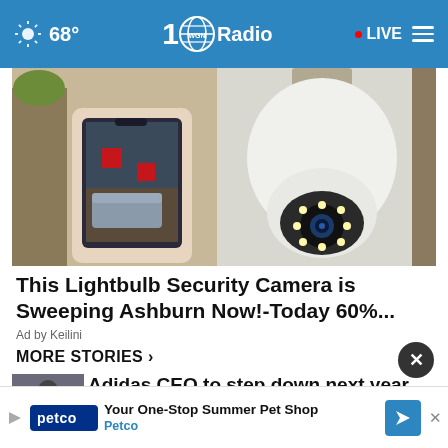68° WGN Radio • LIVE
[Figure (photo): Advertisement image showing a smartphone displaying a room interior alongside a white lightbulb-shaped security camera with LED lights]
This Lightbulb Security Camera is Sweeping Ashburn Now!-Today 60%...
Ad by Keilini
MORE STORIES ›
adidas: Adidas CEO to step down next year,
[Figure (photo): Petco banner ad: Your One-Stop Summer Pet Shop - Petco]